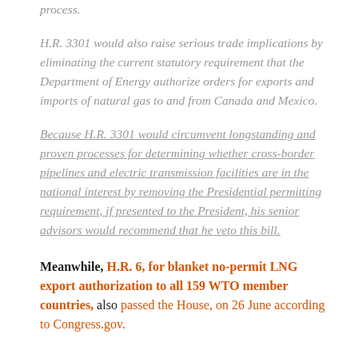process.
H.R. 3301 would also raise serious trade implications by eliminating the current statutory requirement that the Department of Energy authorize orders for exports and imports of natural gas to and from Canada and Mexico.
Because H.R. 3301 would circumvent longstanding and proven processes for determining whether cross-border pipelines and electric transmission facilities are in the national interest by removing the Presidential permitting requirement, if presented to the President, his senior advisors would recommend that he veto this bill.
Meanwhile, H.R. 6, for blanket no-permit LNG export authorization to all 159 WTO member countries, also passed the House, on 26 June according to Congress.gov.